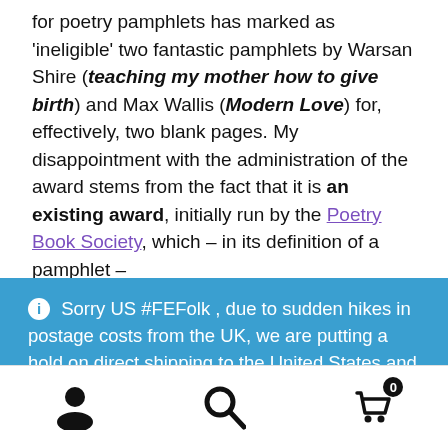for poetry pamphlets has marked as ineligible two fantastic pamphlets by Warsan Shire (teaching my mother how to give birth) and Max Wallis (Modern Love) for, effectively, two blank pages. My disappointment with the administration of the award stems from the fact that it is an existing award, initially run by the Poetry Book Society, which – in its definition of a pamphlet –
ⓘ Sorry US #FEFolk , due to sudden hikes in postage costs from the UK, we are putting a hold on direct shipping to the United States and Canada. In the meantime please order our titles via flipped eye's Amazon US and Canada stores. Dismiss